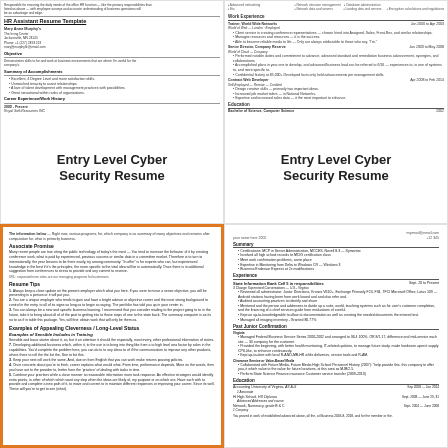[Figure (screenshot): Top-left: HR Assistant Resume Template snippet showing name, contact info, objective, accomplishments, career experience and HR Assistant role]
[Figure (screenshot): Top-right: Entry Level Cyber Security Resume showing work experience, education, and technical skills sections]
Entry Level Cyber Security Resume
Entry Level Cyber Security Resume
[Figure (screenshot): Bottom-left: Entry level cyber security resume tips article with orange border, including Associate Promise section, Resume Tips, and Examples of Appealing Character/Long-Level Stature]
[Figure (screenshot): Bottom-right: Entry Level Cyber Security Resume example showing Summary, Experience at State Information Bank, and Education sections]